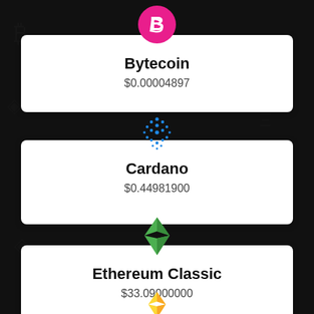[Figure (logo): Bytecoin pink circle logo with stylized B letter]
Bytecoin
$0.00004897
[Figure (logo): Cardano blue dot pattern logo]
Cardano
$0.44981900
[Figure (logo): Ethereum Classic green diamond logo]
Ethereum Classic
$33.09000000